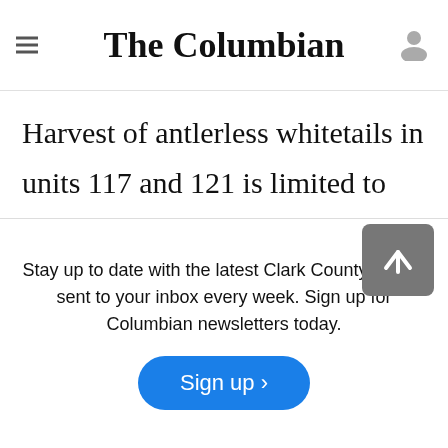The Columbian
deer collared... from a number of several sub-legal bucks
Harvest of antlerless whitetails in units 117 and 121 is limited to youth, senior and disabled hunters during a four-day window in the season and bucks must have at least four points on antler to be legal game.
Stay up to date with the latest Clark County stories sent to your inbox every week. Sign up for Columbian newsletters today.
Those limitations... ample size in the...